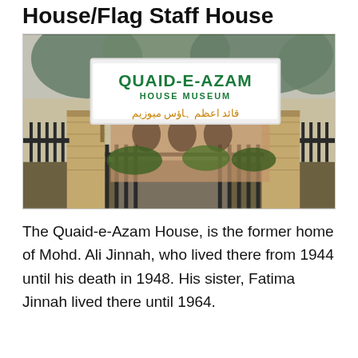House/Flag Staff House
[Figure (photo): Entrance gate of Quaid-e-Azam House Museum showing a large white signboard with 'QUAID-E-AZAM HOUSE MUSEUM' in green letters and Urdu text below, flanked by stone pillars and iron fencing, with trees in the background.]
The Quaid-e-Azam House, is the former home of Mohd. Ali Jinnah, who lived there from 1944 until his death in 1948. His sister, Fatima Jinnah lived there until 1964.